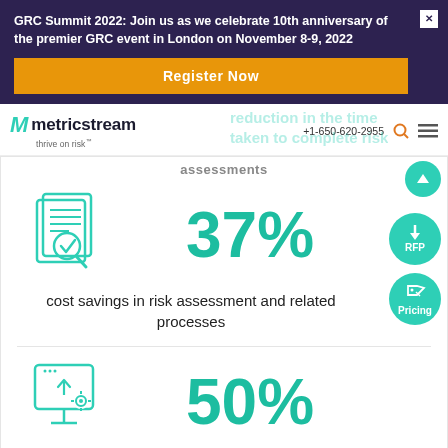GRC Summit 2022: Join us as we celebrate 10th anniversary of the premier GRC event in London on November 8-9, 2022
Register Now
[Figure (logo): MetricStream logo with teal M icon and tagline 'thrive on risk']
assessments
37%
cost savings in risk assessment and related processes
[Figure (infographic): Teal document with magnifying glass and checkmark icon]
[Figure (infographic): Teal RFP download button (circle with down arrow)]
[Figure (infographic): Teal Pricing button (circle with price tag icon)]
50%
[Figure (infographic): Teal computer monitor with settings/upload icon]